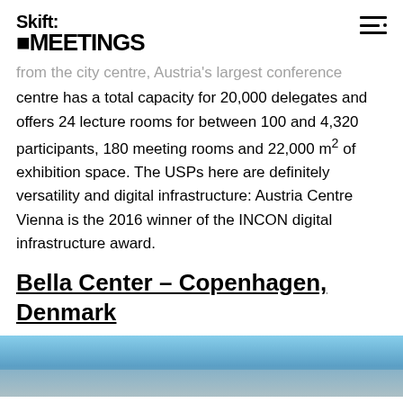Skift MEETINGS
from the city centre, Austria's largest conference centre has a total capacity for 20,000 delegates and offers 24 lecture rooms for between 100 and 4,320 participants, 180 meeting rooms and 22,000 m² of exhibition space. The USPs here are definitely versatility and digital infrastructure: Austria Centre Vienna is the 2016 winner of the INCON digital infrastructure award.
Bella Center – Copenhagen, Denmark
[Figure (photo): Exterior photo of Bella Center Copenhagen under blue sky]